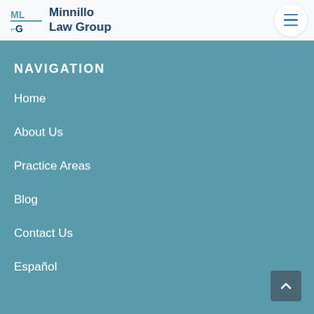Minnillo Law Group
NAVIGATION
Home
About Us
Practice Areas
Blog
Contact Us
Español